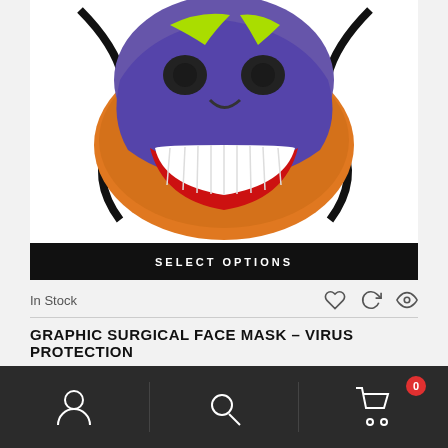[Figure (photo): Graphic face mask product image showing a zombie/skull design with purple skull, orange face, large white teeth, and black straps on white background]
SELECT OPTIONS
In Stock
GRAPHIC SURGICAL FACE MASK – VIRUS PROTECTION
Accessories, Accessories, All
$14.99
[Figure (photo): Second product image partially visible showing animal face mask design]
Navigation bar with account, search, and cart icons